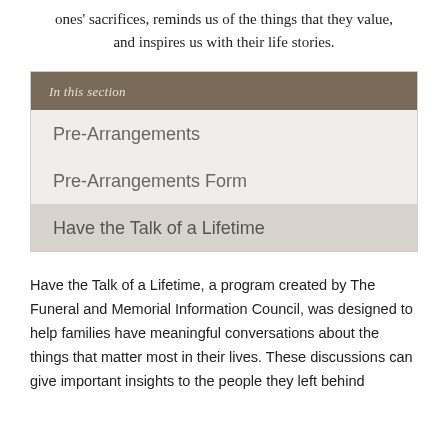ones' sacrifices, reminds us of the things that they value, and inspires us with their life stories.
Pre-Arrangements
Pre-Arrangements Form
Have the Talk of a Lifetime
Have the Talk of a Lifetime, a program created by The Funeral and Memorial Information Council, was designed to help families have meaningful conversations about the things that matter most in their lives. These discussions can give important insights to the people they left behind